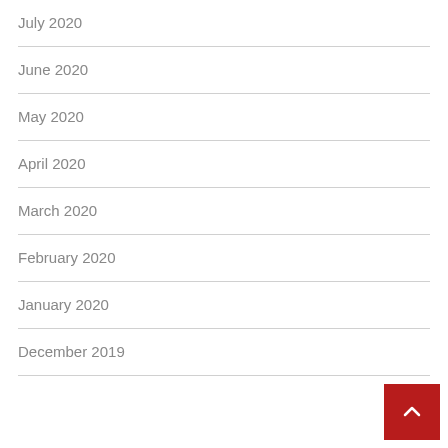July 2020
June 2020
May 2020
April 2020
March 2020
February 2020
January 2020
December 2019